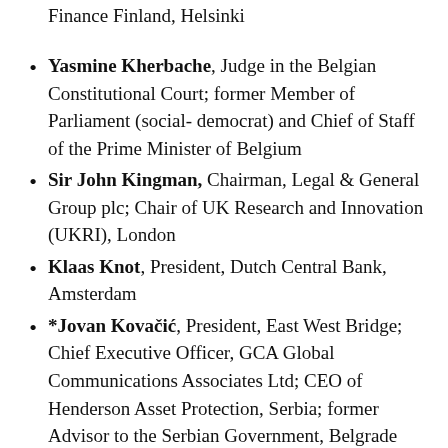Finance Finland, Helsinki
Yasmine Kherbache, Judge in the Belgian Constitutional Court; former Member of Parliament (social- democrat) and Chief of Staff of the Prime Minister of Belgium
Sir John Kingman, Chairman, Legal & General Group plc; Chair of UK Research and Innovation (UKRI), London
Klaas Knot, President, Dutch Central Bank, Amsterdam
*Jovan Kovačić, President, East West Bridge; Chief Executive Officer, GCA Global Communications Associates Ltd; CEO of Henderson Asset Protection, Serbia; former Advisor to the Serbian Government, Belgrade
Árpád Kovács, Chairman, Fiscal Council of